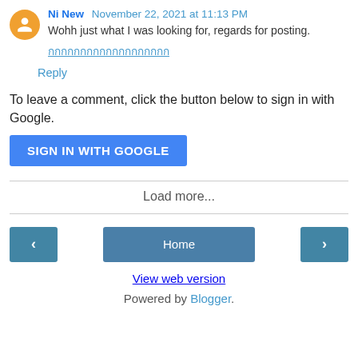Ni New  November 22, 2021 at 11:13 PM
Wohh just what I was looking for, regards for posting.
[Thai text link]
Reply
To leave a comment, click the button below to sign in with Google.
SIGN IN WITH GOOGLE
Load more...
Home
View web version
Powered by Blogger.